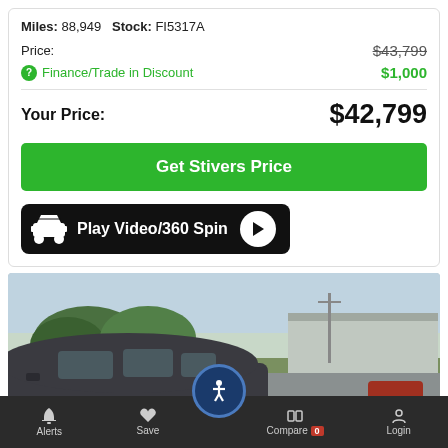Miles: 88,949   Stock: FI5317A
Price: $43,799 (strikethrough)
Finance/Trade in Discount  $1,000
Your Price: $42,799
Get Stivers Price
Play Video/360 Spin
[Figure (photo): Exterior photo of a dark grey minivan parked outdoors, with trees and an industrial building visible in the background]
Alerts   Save   Compare 0   Login